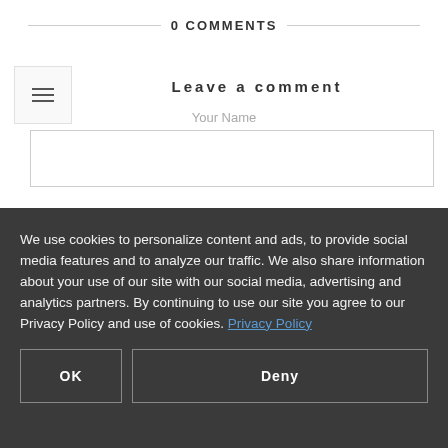0 COMMENTS
Leave a comment
Your Name
We use cookies to personalize content and ads, to provide social media features and to analyze our traffic. We also share information about your use of our site with our social media, advertising and analytics partners. By continuing to use our site you agree to our Privacy Policy and use of cookies. Privacy Policy
OK
Deny